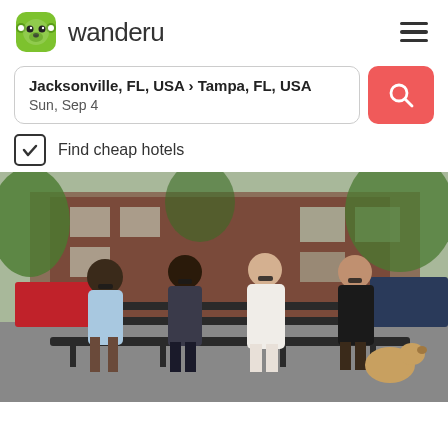[Figure (logo): Wanderu logo: green monkey face icon and 'wanderu' wordmark in dark gray]
Jacksonville, FL, USA › Tampa, FL, USA
Sun, Sep 4
[Figure (other): Red search button with magnifying glass icon]
Find cheap hotels
[Figure (photo): Four women wearing sunglasses sitting on a park bench outdoors, with a dog, brick building and parked cars visible in background]